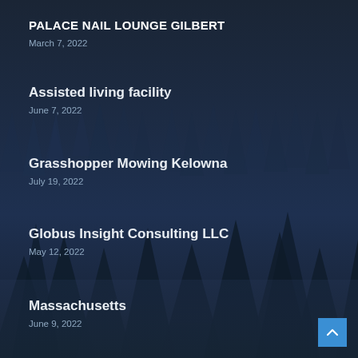PALACE NAIL LOUNGE GILBERT
March 7, 2022
Assisted living facility
June 7, 2022
Grasshopper Mowing Kelowna
July 19, 2022
Globus Insight Consulting LLC
May 12, 2022
Massachusetts
June 9, 2022